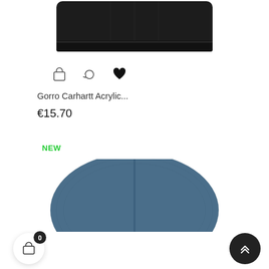[Figure (photo): Black knit beanie hat shown from front, folded brim, dark background product shot cropped at top of page]
[Figure (illustration): Three action icons below black hat: shopping bag/cart icon, refresh/compare icon, and heart/wishlist icon]
Gorro Carhartt Acrylic...
€15.70
NEW
[Figure (photo): Blue/steel-blue knit beanie hat shown from front, rounded dome shape with folded brim, ribbed texture, partial view cropped at bottom of page]
[Figure (illustration): Bottom navigation: shopping cart button with badge showing 0 on the left, scroll-to-top button (double chevron up) on the right]